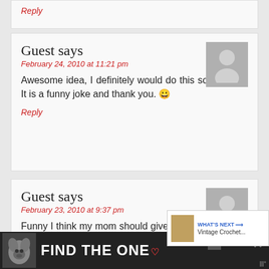Reply
Guest says
February 24, 2010 at 11:21 pm
Awesome idea, I definitely would do this sometime. It is a funny joke and thank you. 😀
Reply
Guest says
February 23, 2010 at 9:37 pm
Funny I think my mom should give this to my d... as a joke on his birthday
Reply
[Figure (other): Advertisement banner: dog image with text FIND THE ONE and heart symbol on dark background]